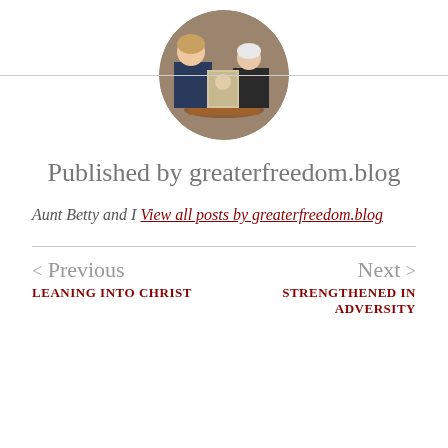[Figure (photo): Circular avatar photo of two women, one younger and one older, sitting at a table holding a framed picture.]
Published by greaterfreedom.blog
Aunt Betty and I View all posts by greaterfreedom.blog
< Previous
LEANING INTO CHRIST
Next >
STRENGTHENED IN ADVERSITY